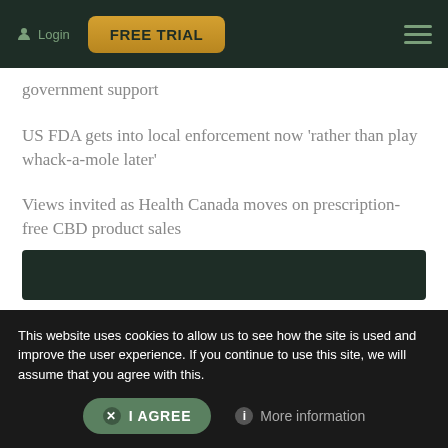Login | FREE TRIAL
government support
US FDA gets into local enforcement now 'rather than play whack-a-mole later'
Views invited as Health Canada moves on prescription-free CBD product sales
Could cannabis help improve outcomes for patients badly afflicted by Covid?
[Figure (screenshot): Dark banner image at bottom of article list]
This website uses cookies to allow us to see how the site is used and improve the user experience. If you continue to use this site, we will assume that you agree with this.